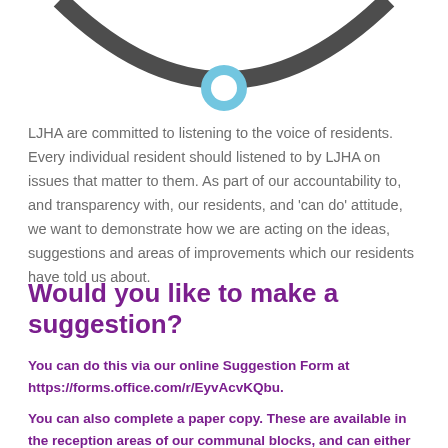[Figure (illustration): Partial view of a dark circular ring/arc at top, with a light blue circle/dot at the bottom center of the arc]
LJHA are committed to listening to the voice of residents. Every individual resident should listened to by LJHA on issues that matter to them. As part of our accountability to, and transparency with, our residents, and 'can do' attitude, we want to demonstrate how we are acting on the ideas, suggestions and areas of improvements which our residents have told us about.
Would you like to make a suggestion?
You can do this via our online Suggestion Form at https://forms.office.com/r/EyvAcvKQbu.
You can also complete a paper copy. These are available in the reception areas of our communal blocks, and can either be posted in the red post-boxes located in reception areas, or sent to us